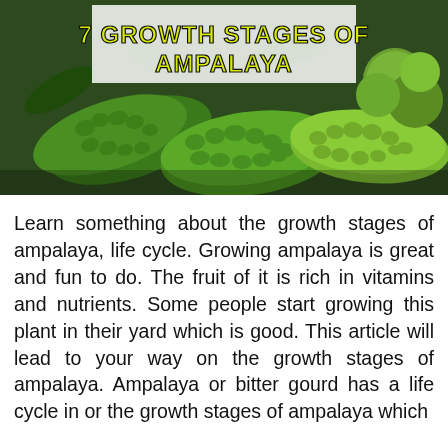[Figure (photo): Photo of ampalaya (bitter gourd) fruits, green and bumpy, filling the frame. Overlaid at the top is a white semi-transparent banner with bold yellow text reading '7 GROWTH STAGES OF AMPALAYA'.]
Learn something about the growth stages of ampalaya, life cycle. Growing ampalaya is great and fun to do. The fruit of it is rich in vitamins and nutrients. Some people start growing this plant in their yard which is good. This article will lead to your way on the growth stages of ampalaya. Ampalaya or bitter gourd has a life cycle in or the growth stages of ampalaya which